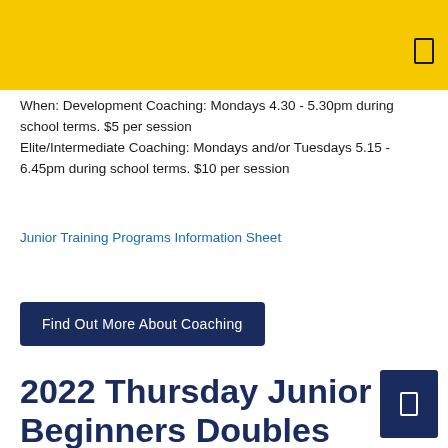When: Development Coaching: Mondays 4.30 - 5.30pm during school terms. $5 per session
Elite/Intermediate Coaching: Mondays and/or Tuesdays 5.15 - 6.45pm during school terms. $10 per session
Junior Training Programs Information Sheet
Find Out More About Coaching
2022 Thursday Junior Beginners Doubles